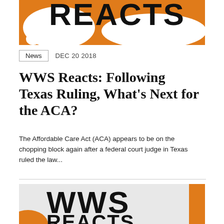[Figure (illustration): WWS Reacts banner image with orange background, white speech bubbles, and large bold text 'REACTS' partially visible at top]
News   DEC 20 2018
WWS Reacts: Following Texas Ruling, What’s Next for the ACA?
The Affordable Care Act (ACA) appears to be on the chopping block again after a federal court judge in Texas ruled the law...
[Figure (illustration): WWS Reacts banner image partially visible at bottom, showing large bold text 'WWS' and beginning of 'REACTS' on orange and grey background]